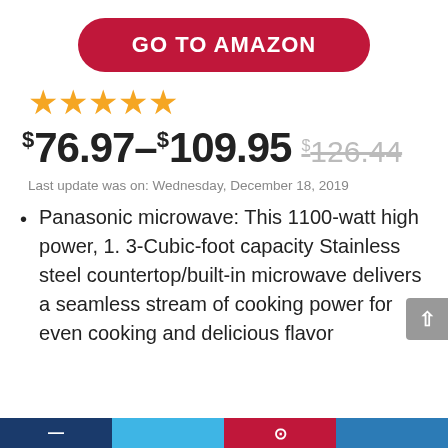GO TO AMAZON
★★★★★
$76.97–$109.95 $126.44
Last update was on: Wednesday, December 18, 2019
Panasonic microwave: This 1100-watt high power, 1. 3-Cubic-foot capacity Stainless steel countertop/built-in microwave delivers a seamless stream of cooking power for even cooking and delicious flavor